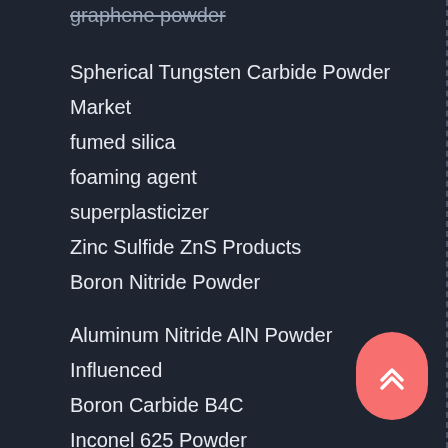graphene powder
Spherical Tungsten Carbide Powder
Market
fumed silica
foaming agent
superplasticizer
Zinc Sulfide ZnS Products
Boron Nitride Powder
Aluminum Nitride AlN Powder
Influenced
Boron Carbide B4C
Inconel 625 Powder
Inconel 625 powder